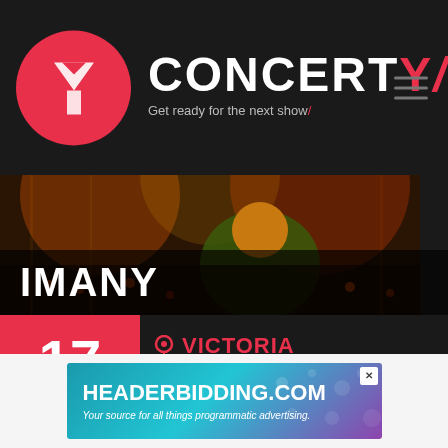CONCERTY – Get ready for the next show
[Figure (photo): Concert photo showing a performer on stage with colorful lighting and crowd in background, artist wearing orange headwear and green jacket]
IMANY
[Figure (infographic): Event info box showing date 17 NOV. in red box, venue VICTORIA, city GENÈVE with Swiss flag icon]
ACHETER TICKET
[Figure (screenshot): Advertisement banner for HEADERBIDDING.COM – Your source for all things programmatic advertising]